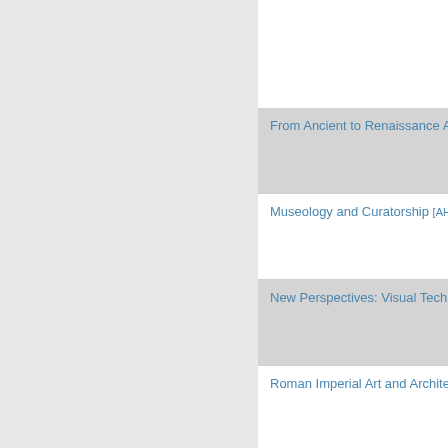From Ancient to Renaissance Art [AH …]
Museology and Curatorship [AH 316…]
New Perspectives: Visual Technolo…
Roman Imperial Art and Architecture…
The Renaissance in Rome [AH 310]
Van Gogh to Warhol [AH 210]